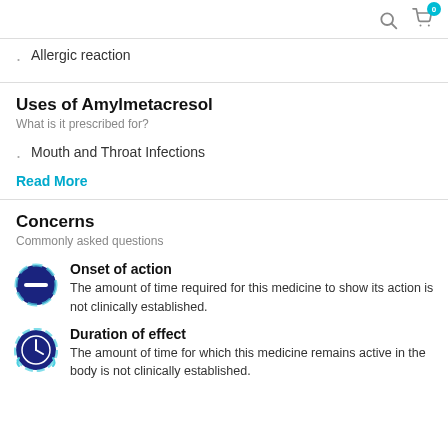Search icon, Cart icon with badge 0
Allergic reaction
Uses of Amylmetacresol
What is it prescribed for?
Mouth and Throat Infections
Read More
Concerns
Commonly asked questions
Onset of action
The amount of time required for this medicine to show its action is not clinically established.
Duration of effect
The amount of time for which this medicine remains active in the body is not clinically established.